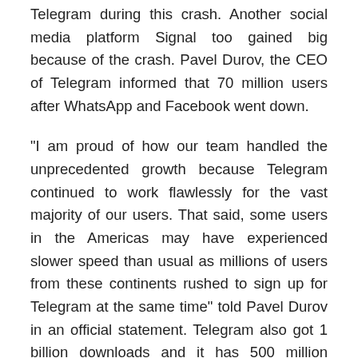Telegram during this crash. Another social media platform Signal too gained big because of the crash. Pavel Durov, the CEO of Telegram informed that 70 million users after WhatsApp and Facebook went down.
"I am proud of how our team handled the unprecedented growth because Telegram continued to work flawlessly for the vast majority of our users. That said, some users in the Americas may have experienced slower speed than usual as millions of users from these continents rushed to sign up for Telegram at the same time" told Pavel Durov in an official statement. Telegram also got 1 billion downloads and it has 500 million active users. Signal also got several new users during this crash and also after WhatsApp was under security scrutiny. There are talks that Facebook and WhatsApp happened due to the cyber attack. Facebook issued a clarification that the data of the users was never